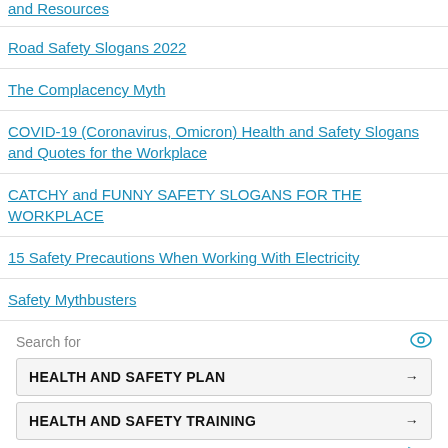and Resources
Road Safety Slogans 2022
The Complacency Myth
COVID-19 (Coronavirus, Omicron) Health and Safety Slogans and Quotes for the Workplace
CATCHY and FUNNY SAFETY SLOGANS FOR THE WORKPLACE
15 Safety Precautions When Working With Electricity
Safety Mythbusters
Search for
HEALTH AND SAFETY PLAN →
HEALTH AND SAFETY TRAINING →